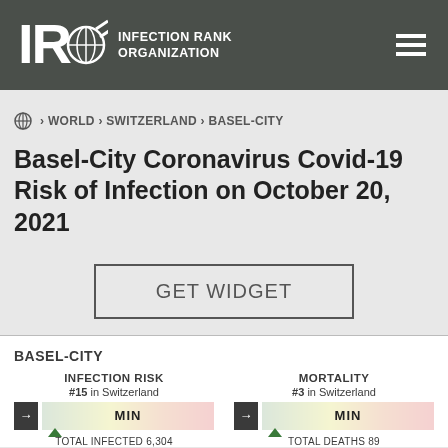INFECTION RANK ORGANIZATION
› WORLD › SWITZERLAND › BASEL-CITY
Basel-City Coronavirus Covid-19 Risk of Infection on October 20, 2021
GET WIDGET
BASEL-CITY
|  | INFECTION RISK | MORTALITY |
| --- | --- | --- |
| Rank | #15 in Switzerland | #3 in Switzerland |
| Level | MIN | MIN |
| Total | TOTAL INFECTED 6,304 | TOTAL DEATHS 89 |